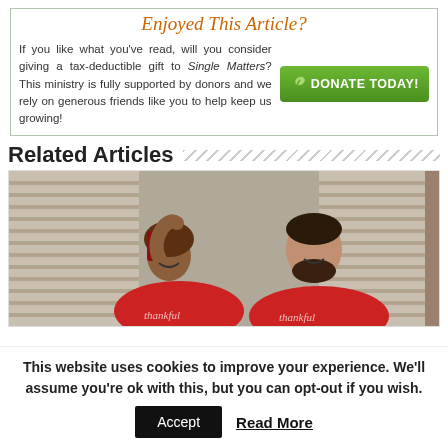Enjoyed This Article?
If you like what you've read, will you consider giving a tax-deductible gift to Single Matters? This ministry is fully supported by donors and we rely on generous friends like you to help keep us growing!
[Figure (other): Green DONATE TODAY! button with leaf icon]
Related Articles
[Figure (photo): A laughing woman in a red 'thankful' t-shirt with a bandana and a bearded man in a red 'thankful' t-shirt, standing in front of shutters]
This website uses cookies to improve your experience. We'll assume you're ok with this, but you can opt-out if you wish.
Accept   Read More